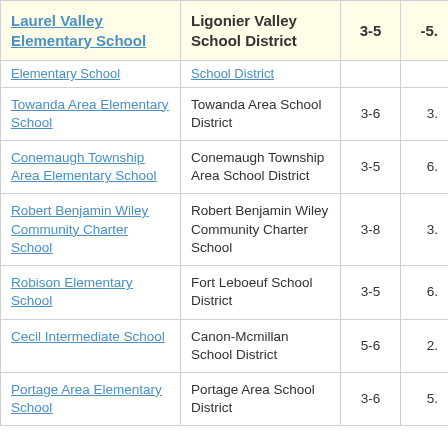| School | District | Grades | Value |
| --- | --- | --- | --- |
| Laurel Valley Elementary School | Ligonier Valley School District | 3-5 | -5. |
| Elementary School | School District |  |  |
| Towanda Area Elementary School | Towanda Area School District | 3-6 | 3. |
| Conemaugh Township Area Elementary School | Conemaugh Township Area School District | 3-5 | 6. |
| Robert Benjamin Wiley Community Charter School | Robert Benjamin Wiley Community Charter School | 3-8 | 3. |
| Robison Elementary School | Fort Leboeuf School District | 3-5 | 6. |
| Cecil Intermediate School | Canon-Mcmillan School District | 5-6 | 2. |
| Portage Area Elementary School | Portage Area School District | 3-6 | 5. |